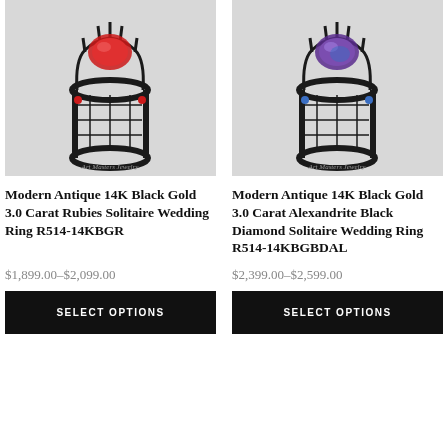[Figure (photo): Modern Antique 14K Black Gold ring with red rubies on a light gray background. Gothic-style black metal setting with red gemstone cluster. Watermark: Art Masters Jewelry]
Modern Antique 14K Black Gold 3.0 Carat Rubies Solitaire Wedding Ring R514-14KBGR
$1,899.00–$2,099.00
SELECT OPTIONS
[Figure (photo): Modern Antique 14K Black Gold ring with alexandrite and black diamond stones on a light gray background. Gothic-style black metal setting with purple/blue gemstone. Watermark: Art Masters Jewelry]
Modern Antique 14K Black Gold 3.0 Carat Alexandrite Black Diamond Solitaire Wedding Ring R514-14KBGBDAL
$2,399.00–$2,599.00
SELECT OPTIONS